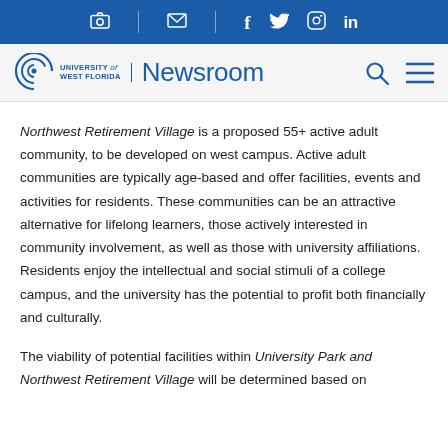University of West Florida Newsroom — social and navigation bar
Northwest Retirement Village is a proposed 55+ active adult community, to be developed on west campus. Active adult communities are typically age-based and offer facilities, events and activities for residents. These communities can be an attractive alternative for lifelong learners, those actively interested in community involvement, as well as those with university affiliations. Residents enjoy the intellectual and social stimuli of a college campus, and the university has the potential to profit both financially and culturally.
The viability of potential facilities within University Park and Northwest Retirement Village will be determined based on